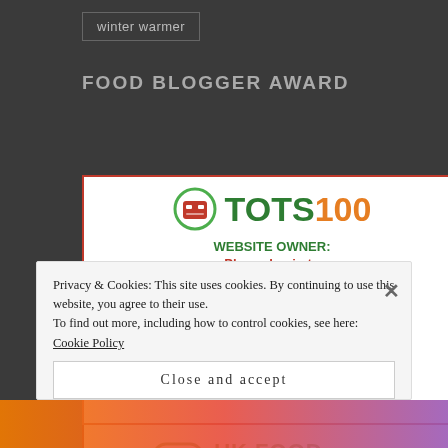winter warmer
FOOD BLOGGER AWARD
[Figure (logo): TOTS100 badge with website owner login prompt, and UK Food Influencer badge below it]
Privacy & Cookies: This site uses cookies. By continuing to use this website, you agree to their use.
To find out more, including how to control cookies, see here: Cookie Policy
Close and accept